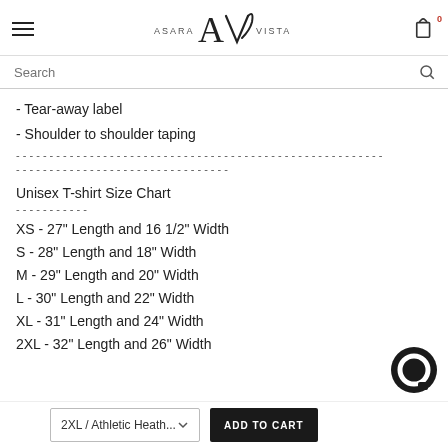Asara Vista
Search
- Tear-away label
- Shoulder to shoulder taping
Unisex T-shirt Size Chart
XS - 27" Length and 16 1/2" Width
S - 28" Length and 18" Width
M - 29" Length and 20" Width
L - 30" Length and 22" Width
XL - 31" Length and 24" Width
2XL - 32" Length and 26" Width
2XL / Athletic Heath...
ADD TO CART